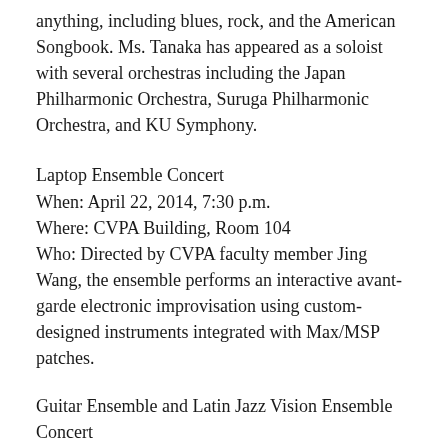anything, including blues, rock, and the American Songbook. Ms. Tanaka has appeared as a soloist with several orchestras including the Japan Philharmonic Orchestra, Suruga Philharmonic Orchestra, and KU Symphony.
Laptop Ensemble Concert
When: April 22, 2014, 7:30 p.m.
Where: CVPA Building, Room 104
Who: Directed by CVPA faculty member Jing Wang, the ensemble performs an interactive avant-garde electronic improvisation using custom-designed instruments integrated with Max/MSP patches.
Guitar Ensemble and Latin Jazz Vision Ensemble Concert
When: April 23, 2014, 8:00 p.m.
Where: CVPA Building, Recital Hall, Room 153